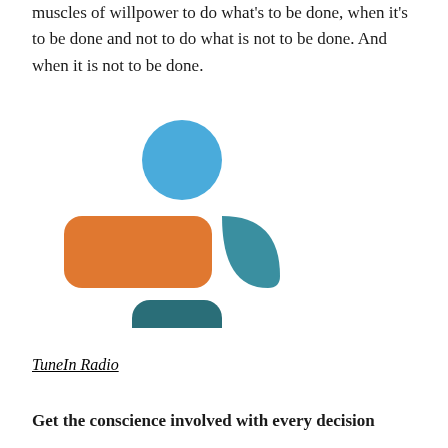muscles of willpower to do what's to be done, when it's to be done and not to do what is not to be done. And when it is not to be done.
[Figure (logo): TuneIn logo: blue circle on top, orange rounded rectangle on left, teal leaf shape on right, dark teal rounded rectangle on bottom, with 'tunein' text in bold dark sans-serif below]
TuneIn Radio
Get the conscience involved with every decision